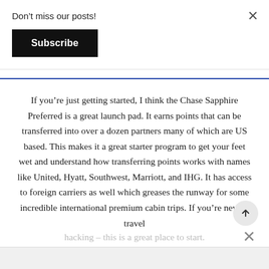Don't miss our posts!
Subscribe
If you’re just getting started, I think the Chase Sapphire Preferred is a great launch pad. It earns points that can be transferred into over a dozen partners many of which are US based. This makes it a great starter program to get your feet wet and understand how transferring points works with names like United, Hyatt, Southwest, Marriott, and IHG. It has access to foreign carriers as well which greases the runway for some incredible international premium cabin trips. If you’re new to travel
hacking – this is a great place to start.